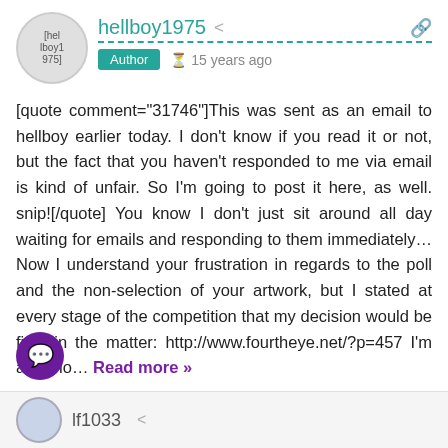hellboy1975
Author  15 years ago
[quote comment="31746"]This was sent as an email to hellboy earlier today. I don't know if you read it or not, but the fact that you haven't responded to me via email is kind of unfair. So I'm going to post it here, as well. snip![/quote] You know I don't just sit around all day waiting for emails and responding to them immediately... Now I understand your frustration in regards to the poll and the non-selection of your artwork, but I stated at every stage of the competition that my decision would be final in the matter: http://www.fourtheye.net/?p=457 I'm after no... Read more »
28
0 —
lf1033